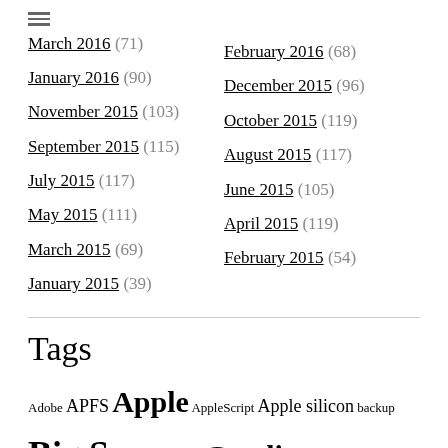March 2016 (71)
February 2016 (68)
January 2016 (90)
December 2015 (96)
November 2015 (103)
October 2015 (119)
September 2015 (115)
August 2015 (117)
July 2015 (117)
June 2015 (105)
May 2015 (111)
April 2015 (119)
March 2015 (69)
February 2015 (54)
January 2015 (39)
Tags
Adobe APFS Apple AppleScript Apple silicon backup Big Sur Blake bug Catalina Consolation Console diagnosis Disk